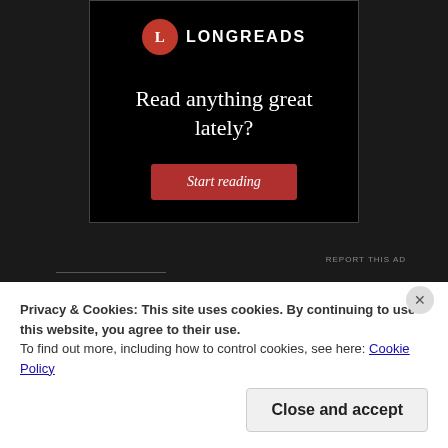[Figure (logo): Longreads logo with red circle containing L and LONGREADS text in white]
Read anything great lately?
Start reading
REPORT THIS AD
SHARE THIS:
Twitter
Facebook
Privacy & Cookies: This site uses cookies. By continuing to use this website, you agree to their use.
To find out more, including how to control cookies, see here: Cookie Policy
Close and accept